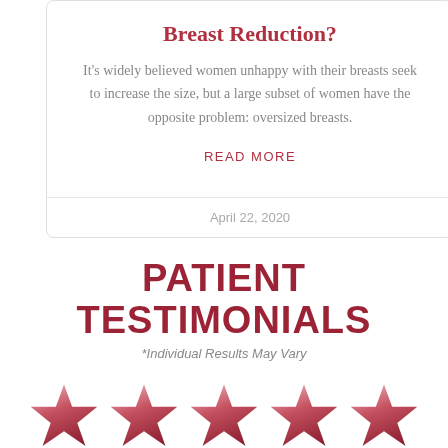Breast Reduction?
It's widely believed women unhappy with their breasts seek to increase the size, but a large subset of women have the opposite problem: oversized breasts.
READ MORE
April 22, 2020
PATIENT TESTIMONIALS
*Individual Results May Vary
[Figure (illustration): Five pink/red gradient star icons in a row representing a 5-star rating]